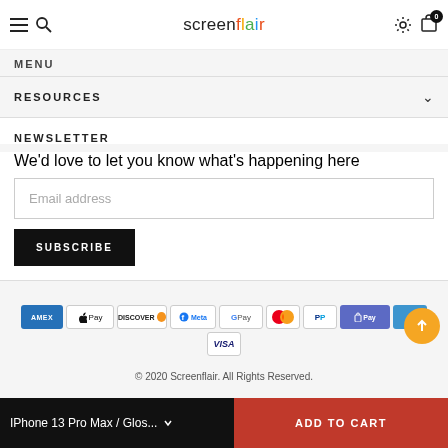screenflair — navigation header with menu, search, settings, cart icons
MENU
RESOURCES
NEWSLETTER
We'd love to let you know what's happening here
Blog
[Figure (other): Payment method icons: American Express, Apple Pay, Discover, Meta Pay, Google Pay, Mastercard, PayPal, Shop Pay, Venmo, Visa]
© 2020 Screenflair. All Rights Reserved.
IPhone 13 Pro Max / Glos...  ADD TO CART